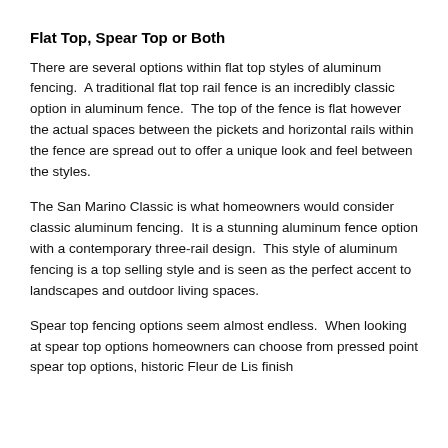Flat Top, Spear Top or Both
There are several options within flat top styles of aluminum fencing.  A traditional flat top rail fence is an incredibly classic option in aluminum fence.  The top of the fence is flat however the actual spaces between the pickets and horizontal rails within the fence are spread out to offer a unique look and feel between the styles.
The San Marino Classic is what homeowners would consider classic aluminum fencing.  It is a stunning aluminum fence option with a contemporary three-rail design.  This style of aluminum fencing is a top selling style and is seen as the perfect accent to landscapes and outdoor living spaces.
Spear top fencing options seem almost endless.  When looking at spear top options homeowners can choose from pressed point spear top options, historic Fleur de Lis finish...